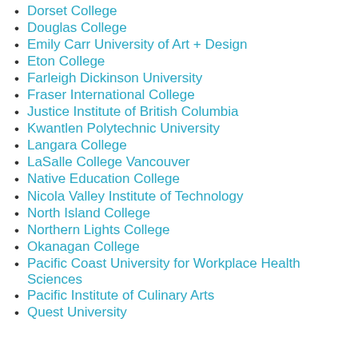Dorset College
Douglas College
Emily Carr University of Art + Design
Eton College
Farleigh Dickinson University
Fraser International College
Justice Institute of British Columbia
Kwantlen Polytechnic University
Langara College
LaSalle College Vancouver
Native Education College
Nicola Valley Institute of Technology
North Island College
Northern Lights College
Okanagan College
Pacific Coast University for Workplace Health Sciences
Pacific Institute of Culinary Arts
Quest University